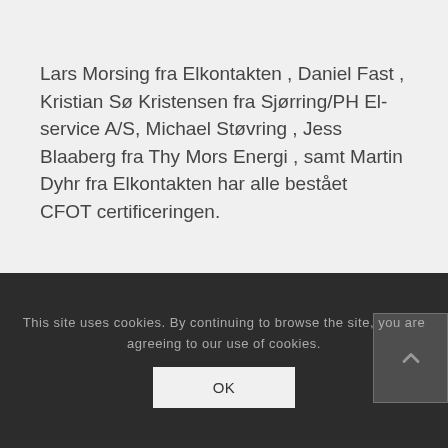Lars Morsing fra Elkontakten , Daniel Fast , Kristian Sø Kristensen fra Sjørring/PH El-service A/S, Michael Støvring , Jess Blaaberg fra Thy Mors Energi , samt Martin Dyhr fra Elkontakten har alle bestået  CFOT certificeringen.
This site uses cookies. By continuing to browse the site, you are agreeing to our use of cookies. OK